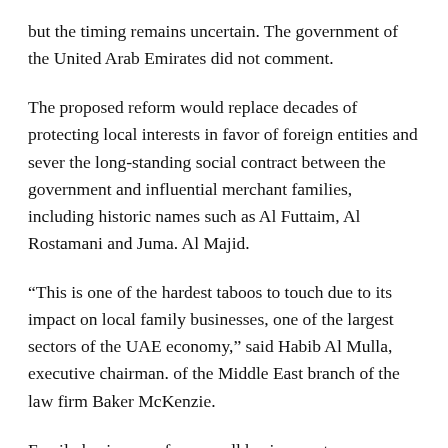but the timing remains uncertain. The government of the United Arab Emirates did not comment.
The proposed reform would replace decades of protecting local interests in favor of foreign entities and sever the long-standing social contract between the government and influential merchant families, including historic names such as Al Futtaim, Al Rostamani and Juma. Al Majid.
“This is one of the hardest taboos to touch due to its impact on local family businesses, one of the largest sectors of the UAE economy,” said Habib Al Mulla, executive chairman. of the Middle East branch of the law firm Baker McKenzie.
Family businesses, from small businesses to conglomerates, make up 90 percent of the UAE’s private sector, which itself accounts for around three-quarters of jobs. These families dominate a retail sector that underpins Dubai’s thriving tourism sector, which is rebounding again.